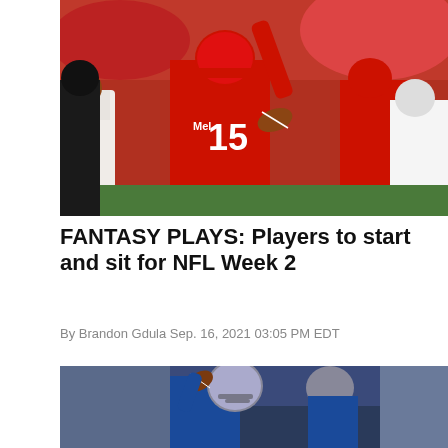[Figure (photo): NFL Kansas City Chiefs player number 15 (Patrick Mahomes) in red uniform celebrating with arm raised, holding football, with teammates and opponents (Cleveland Browns) around him on the field]
FANTASY PLAYS: Players to start and sit for NFL Week 2
By Brandon Gdula Sep. 16, 2021 03:05 PM EDT
[Figure (photo): Detroit Lions quarterback in blue uniform throwing a football, with another player visible in the background]